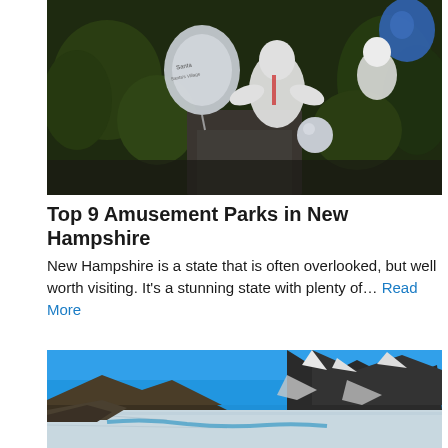[Figure (photo): Aerial view of Santa's Village amusement park with character figures and balloons on a dark wooded path]
Top 9 Amusement Parks in New Hampshire
New Hampshire is a state that is often overlooked, but well worth visiting. It’s a stunning state with plenty of… Read More
[Figure (photo): Snowy mountain landscape with bright blue sky, rocky ridgeline, and frozen or icy lake/river in foreground]